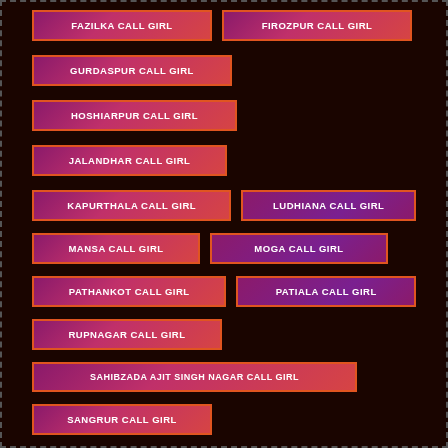FAZILKA CALL GIRL
FIROZPUR CALL GIRL
GURDASPUR CALL GIRL
HOSHIARPUR CALL GIRL
JALANDHAR CALL GIRL
KAPURTHALA CALL GIRL
LUDHIANA CALL GIRL
MANSA CALL GIRL
MOGA CALL GIRL
PATHANKOT CALL GIRL
PATIALA CALL GIRL
RUPNAGAR CALL GIRL
SAHIBZADA AJIT SINGH NAGAR CALL GIRL
SANGRUR CALL GIRL